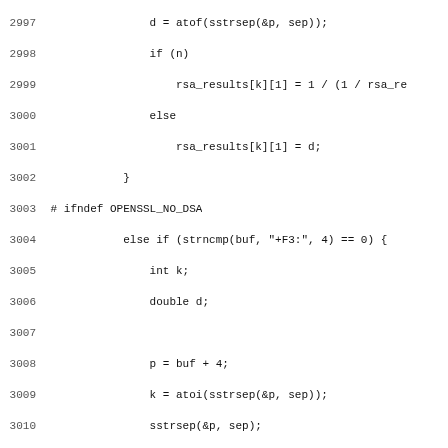Source code listing lines 2997-3028 showing C code with RSA/DSA results processing and OpenSSL preprocessor directives